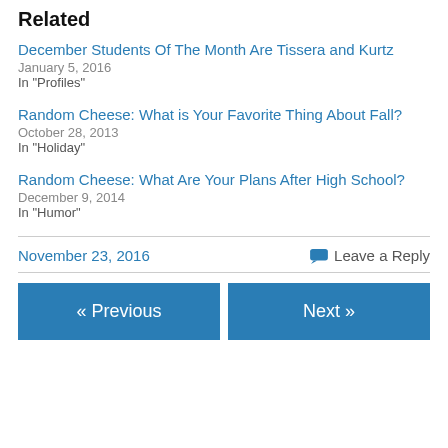Related
December Students Of The Month Are Tissera and Kurtz
January 5, 2016
In "Profiles"
Random Cheese: What is Your Favorite Thing About Fall?
October 28, 2013
In "Holiday"
Random Cheese: What Are Your Plans After High School?
December 9, 2014
In "Humor"
November 23, 2016    Leave a Reply
« Previous    Next »